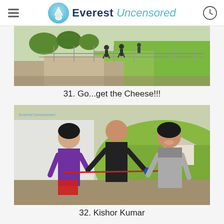Everest Uncensored
[Figure (photo): Outdoor scene with people walking on a path next to a green field, with trees in the background]
31. Go...get the Cheese!!!
[Figure (photo): Three people outdoors near a tent/greenhouse structure with green hillside background. A girl in purple shirt on the left, a bald man in black jacket in the middle, and a smiling woman in grey jacket on the right. They appear to be holding a red rope or string.]
32. Kishor Kumar